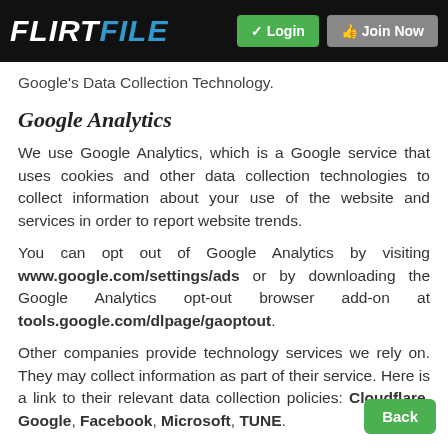FLIRTFILE  Login  Join Now
Google's Data Collection Technology.
Google Analytics
We use Google Analytics, which is a Google service that uses cookies and other data collection technologies to collect information about your use of the website and services in order to report website trends.
You can opt out of Google Analytics by visiting www.google.com/settings/ads or by downloading the Google Analytics opt-out browser add-on at tools.google.com/dlpage/gaoptout.
Other companies provide technology services we rely on. They may collect information as part of their service. Here is a link to their relevant data collection policies: Cloudflare, Google, Facebook, Microsoft, TUNE.